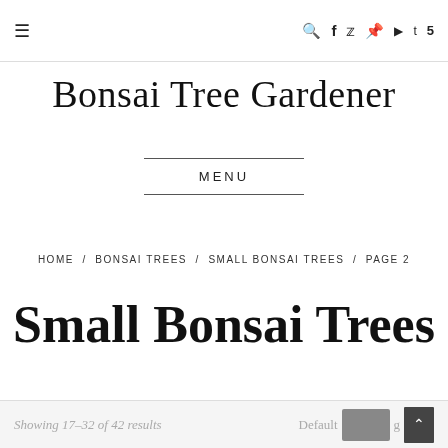☰  🔍 f 𝕏  pinterest youtube tumblr 5
Bonsai Tree Gardener
MENU
HOME / BONSAI TREES / SMALL BONSAI TREES / PAGE 2
Small Bonsai Trees
Showing 17–32 of 42 results   Default sorting ▾